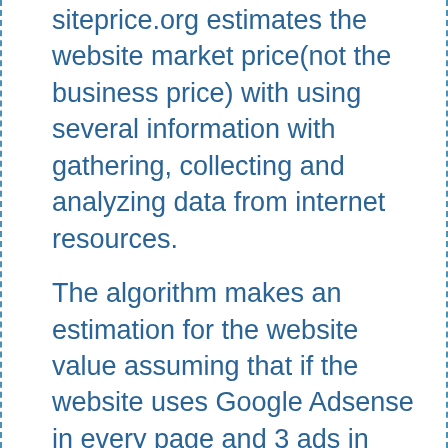siteprice.org estimates the website market price(not the business price) with using several information with gathering, collecting and analyzing data from internet resources.
The algorithm makes an estimation for the website value assuming that if the website uses Google Adsense in every page and 3 ads in proper best locations. If you own this website and even if you are using Adsense and not getting a similar income, we would suggest to research ad placement to get better income.
To estimate the worth of a website, siteprice.org calculates with its own unique algorithm. If you want to sell your website or buy a website you'll probably need to know that "what is the estimated value of the site" and appraise it.
And maybe your website or a website worths